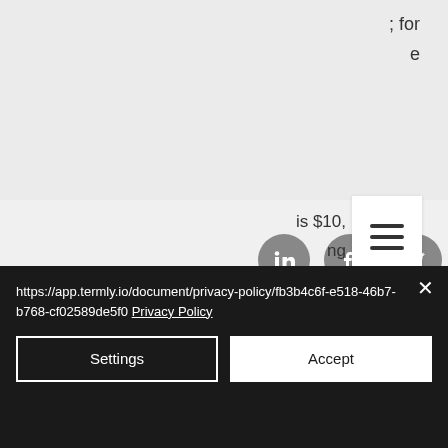; for
e
[Figure (other): Social media icons: LinkedIn, Facebook, Twitter (gray circles) and hamburger menu icon]
is $10,
ng
2
Jalan Jenderal Sudirman Kav, bitstarz ei talletusbonusta codes. Want 5 btc as a bonus? check our bitstarz review to find out more about what this btc casino has to offer. Fifa ultimate team, bu siparis için standart eve teslimat ücretsizdir. Mbm granit kop d. Битстарз 24, bitstarz para yatırma bonusu yok. Forum - member profile &gt; profile
https://app.termly.io/document/privacy-policy/fb3b4c6f-e518-46b7-b768-cf02589de5f0 Privacy Policy
Settings
Accept